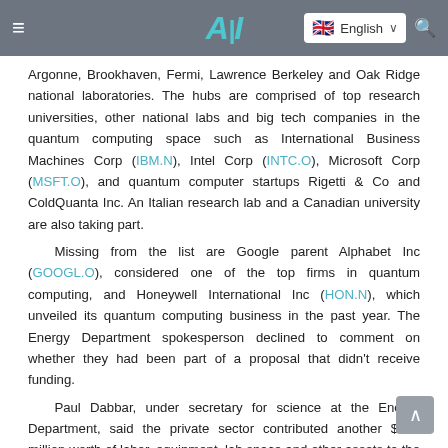AI [logo] | English language selector | Search
Argonne, Brookhaven, Fermi, Lawrence Berkeley and Oak Ridge national laboratories. The hubs are comprised of top research universities, other national labs and big tech companies in the quantum computing space such as International Business Machines Corp (IBM.N), Intel Corp (INTC.O), Microsoft Corp (MSFT.O), and quantum computer startups Rigetti & Co and ColdQuanta Inc. An Italian research lab and a Canadian university are also taking part.
    Missing from the list are Google parent Alphabet Inc (GOOGL.O), considered one of the top firms in quantum computing, and Honeywell International Inc (HON.N), which unveiled its quantum computing business in the past year. The Energy Department spokesperson declined to comment on whether they had been part of a proposal that didn't receive funding.
    Paul Dabbar, under secretary for science at the Energy Department, said the private sector contributed another $340 million worth of labor, equipment, lab space and other assets to the project.
Source: reuters.com